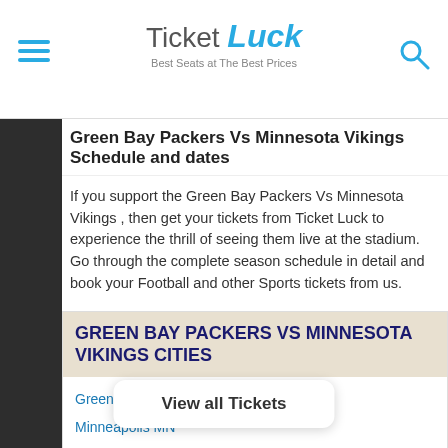Ticket Luck — Best Seats at The Best Prices
Green Bay Packers Vs Minnesota Vikings Schedule and dates
If you support the Green Bay Packers Vs Minnesota Vikings , then get your tickets from Ticket Luck to experience the thrill of seeing them live at the stadium. Go through the complete season schedule in detail and book your Football and other Sports tickets from us.
GREEN BAY PACKERS VS MINNESOTA VIKINGS CITIES
Green Bay WI
Minneapolis MN
GREEN BAY PACKERS VS MINNESOTA VIKINGS SCHEDULE